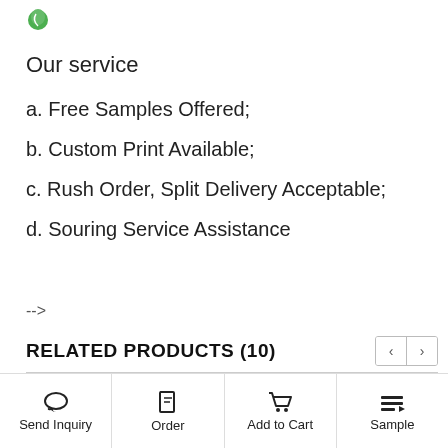[Figure (logo): Small green leaf/logo icon in top left]
Our service
a. Free Samples Offered;
b. Custom Print Available;
c. Rush Order, Split Delivery Acceptable;
d. Souring Service Assistance
-->
RELATED PRODUCTS (10)
Send Inquiry | Order | Add to Cart | Sample